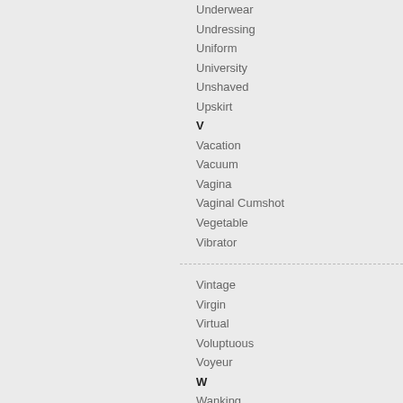Underwear
Undressing
Uniform
University
Unshaved
Upskirt
V
Vacation
Vacuum
Vagina
Vaginal Cumshot
Vegetable
Vibrator
Vintage
Virgin
Virtual
Voluptuous
Voyeur
W
Wanking
Washing
Wax
Webcam